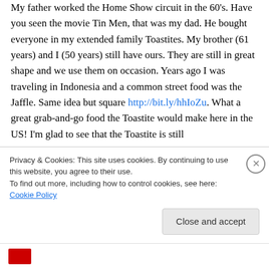My father worked the Home Show circuit in the 60's. Have you seen the movie Tin Men, that was my dad. He bought everyone in my extended family Toastites. My brother (61 years) and I (50 years) still have ours. They are still in great shape and we use them on occasion. Years ago I was traveling in Indonesia and a common street food was the Jaffle. Same idea but square http://bit.ly/hhIoZu. What a great grab-and-go food the Toastite would make here in the US! I'm glad to see that the Toastite is still
Privacy & Cookies: This site uses cookies. By continuing to use this website, you agree to their use.
To find out more, including how to control cookies, see here: Cookie Policy